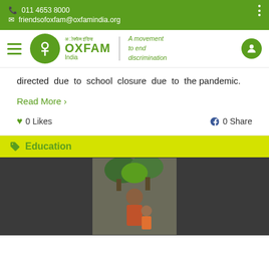011 4653 8000
friendsofoxfam@oxfamindia.org
[Figure (logo): Oxfam India logo with circular green emblem, Hindi text, OXFAM India text, divider, and tagline 'A movement to end discrimination']
directed due to school closure due to the pandemic.
Read More >
0 Likes   0 Share
Education
[Figure (photo): Woman with a child in front of green trees, dark background card]